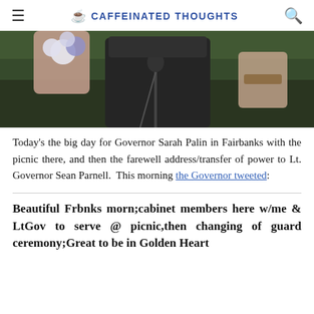CAFFEINATED THOUGHTS
[Figure (photo): Partial photo showing a person at a microphone podium holding flowers, wearing a dark coat, with a blurred outdoor background.]
Today's the big day for Governor Sarah Palin in Fairbanks with the picnic there, and then the farewell address/transfer of power to Lt. Governor Sean Parnell.  This morning the Governor tweeted:
Beautiful Frbnks morn;cabinet members here w/me & LtGov to serve @ picnic,then changing of guard ceremony;Great to be in Golden Heart